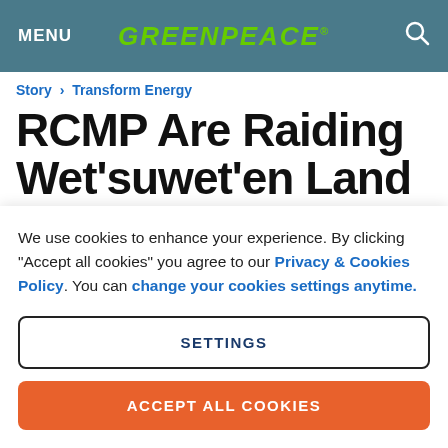MENU | GREENPEACE | [search icon]
Story > Transform Energy
RCMP Are Raiding Wet'suwet'en Land Defender Camps
We use cookies to enhance your experience. By clicking "Accept all cookies" you agree to our Privacy & Cookies Policy. You can change your cookies settings anytime.
SETTINGS
ACCEPT ALL COOKIES